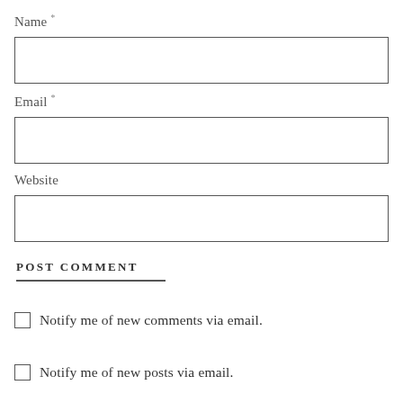Name *
[Figure (other): Text input box for Name field]
Email *
[Figure (other): Text input box for Email field]
Website
[Figure (other): Text input box for Website field]
POST COMMENT
Notify me of new comments via email.
Notify me of new posts via email.